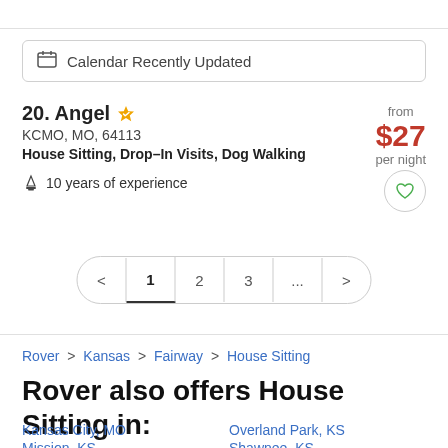Calendar Recently Updated
20. Angel
KCMO, MO, 64113
House Sitting, Drop–In Visits, Dog Walking
🏆 10 years of experience
from $27 per night
[Figure (other): Favorite heart icon button]
< 1 2 3 ...  >
Rover > Kansas > Fairway > House Sitting
Rover also offers House Sitting in:
Kansas City, MO
Mission, KS
Overland Park, KS
Shawnee, KS